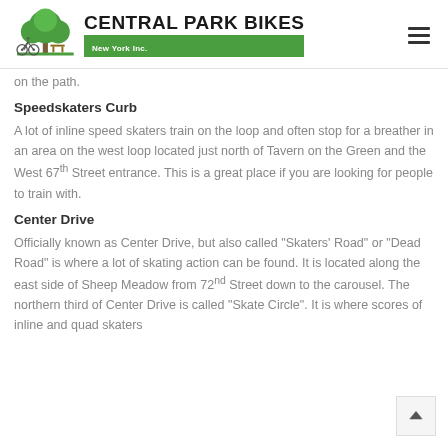CENTRAL PARK BIKES New York Inc.
on the path.
Speedskaters Curb
A lot of inline speed skaters train on the loop and often stop for a breather in an area on the west loop located just north of Tavern on the Green and the West 67th Street entrance. This is a great place if you are looking for people to train with.
Center Drive
Officially known as Center Drive, but also called "Skaters' Road" or "Dead Road" is where a lot of skating action can be found. It is located along the east side of Sheep Meadow from 72nd Street down to the carousel. The northern third of Center Drive is called "Skate Circle". It is where scores of inline and quad skaters